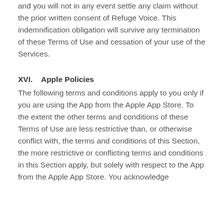and you will not in any event settle any claim without the prior written consent of Refuge Voice. This indemnification obligation will survive any termination of these Terms of Use and cessation of your use of the Services.
XVI.    Apple Policies
The following terms and conditions apply to you only if you are using the App from the Apple App Store. To the extent the other terms and conditions of these Terms of Use are less restrictive than, or otherwise conflict with, the terms and conditions of this Section, the more restrictive or conflicting terms and conditions in this Section apply, but solely with respect to the App from the Apple App Store. You acknowledge